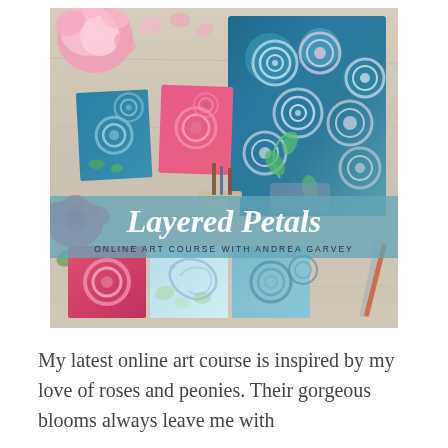[Figure (illustration): Promotional image for 'Layered Petals' online art course by Andrea Garvey. Shows a flat-lay of colorful abstract flower paintings on a wooden surface, surrounded by real roses and peonies. A large teal/blue painting with swirling spiral flower designs dominates the right. Several smaller paintings in pink, teal, and blue tones are arranged on the left and bottom. A semi-transparent teal banner across the middle reads 'Layered Petals' in white cursive script, with 'ONLINE ART COURSE WITH ANDREA GARVEY' below in small caps.]
My latest online art course is inspired by my love of roses and peonies. Their gorgeous blooms always leave me with